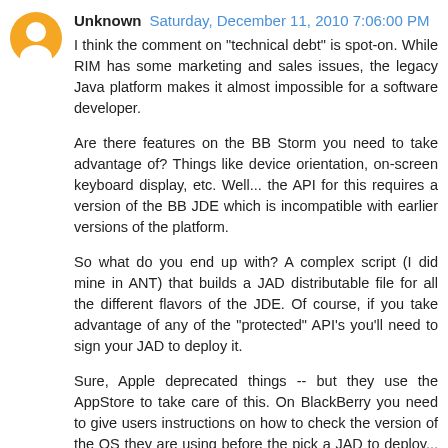[Figure (illustration): Blogger avatar: orange circle with white person silhouette icon]
Unknown Saturday, December 11, 2010 7:06:00 PM
I think the comment on "technical debt" is spot-on. While RIM has some marketing and sales issues, the legacy Java platform makes it almost impossible for a software developer.
Are there features on the BB Storm you need to take advantage of? Things like device orientation, on-screen keyboard display, etc. Well... the API for this requires a version of the BB JDE which is incompatible with earlier versions of the platform.
So what do you end up with? A complex script (I did mine in ANT) that builds a JAD distributable file for all the different flavors of the JDE. Of course, if you take advantage of any of the "protected" API's you'll need to sign your JAD to deploy it.
Sure, Apple deprecated things -- but they use the AppStore to take care of this. On BlackBerry you need to give users instructions on how to check the version of the OS they are using before the pick a JAD to deploy... or you have to build